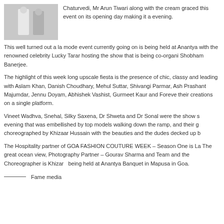[Figure (photo): Two people standing together, possibly at a fashion event, against a light background.]
Chaturvedi, Mr Arun Tiwari along with the cream graced this event on its opening day making it a evening.
This well turned out a la mode event currently going on is being held at Anantya with the renowned celebrity Lucky Tarar hosting the show that is being co-organi Shobham Banerjee.
The highlight of this week long upscale fiesta is the presence of chic, classy and leading with Aslam Khan, Danish Choudhary, Mehul Suttar, Shivangi Parmar, Ash Prashant Majumdar, Jennu Doyam, Abhishek Vashist, Gurmeet Kaur and Foreve their creations on a single platform.
Vineet Wadhva, Snehal, Silky Saxena, Dr Shweta and Dr Sonal were the show s evening that was embellished by top models walking down the ramp, and their g choreographed by Khizaar Hussain with the beauties and the dudes decked up b
The Hospitality partner of GOA FASHION COUTURE WEEK – Season One is La The great ocean view, Photography Partner – Gourav Sharma and Team and the Choreographer is Khizar   being held at Anantya Banquet in Mapusa in Goa.
——— Fame media